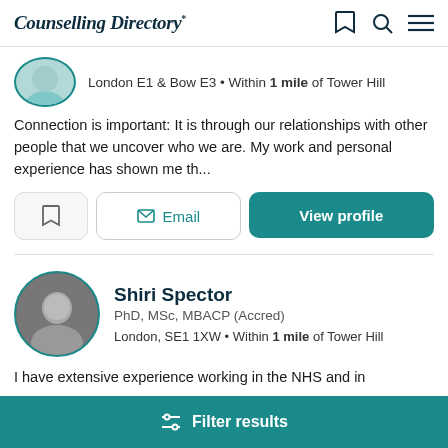Counselling Directory
London E1 & Bow E3 • Within 1 mile of Tower Hill
Connection is important: It is through our relationships with other people that we uncover who we are. My work and personal experience has shown me th...
Email | View profile
Shiri Spector
PhD, MSc, MBACP (Accred)
London, SE1 1XW • Within 1 mile of Tower Hill
I have extensive experience working in the NHS and in
Filter results